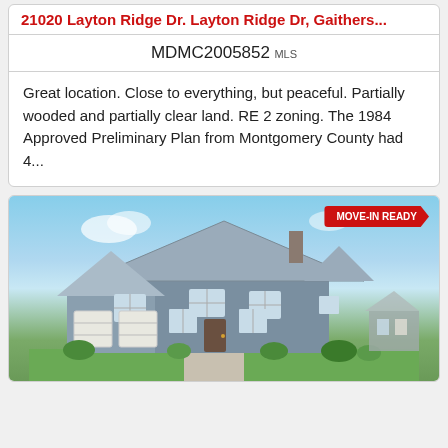21020 Layton Ridge Dr. Layton Ridge Dr, Gaithers...
MDMC2005852 MLS
Great location. Close to everything, but peaceful. Partially wooded and partially clear land. RE 2 zoning. The 1984 Approved Preliminary Plan from Montgomery County had 4...
[Figure (photo): Two-story residential house with gray/blue siding, white garage doors, and green landscaping under blue sky. A red 'MOVE-IN READY' badge is in the top right corner.]